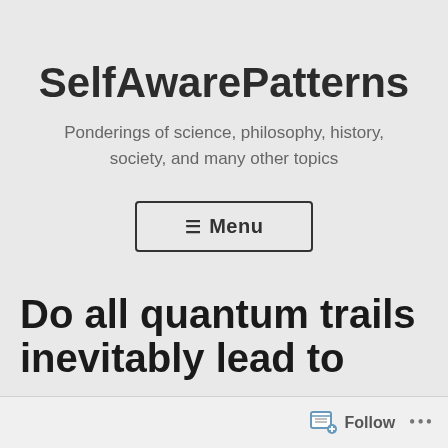SelfAwarePatterns
Ponderings of science, philosophy, history, society, and many other topics
☰ Menu
Do all quantum trails inevitably lead to
Follow ...